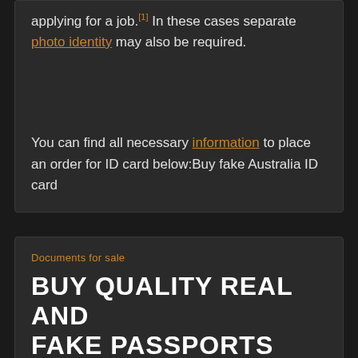applying for a job.[1] In these cases separate photo identity may also be required.
You can find all necessary information to place an order for ID card below:Buy fake Australia ID card
Documents for sale
BUY QUALITY REAL AND FAKE PASSPORTS ONLINE BY D C 2